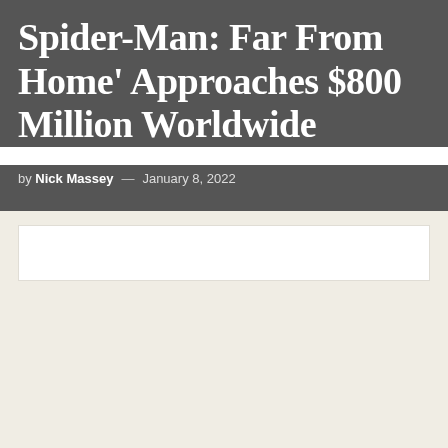Spider-Man: Far From Home' Approaches $800 Million Worldwide
by Nick Massey — January 8, 2022
[Figure (other): Advertisement placeholder box (white rectangle on light beige background)]